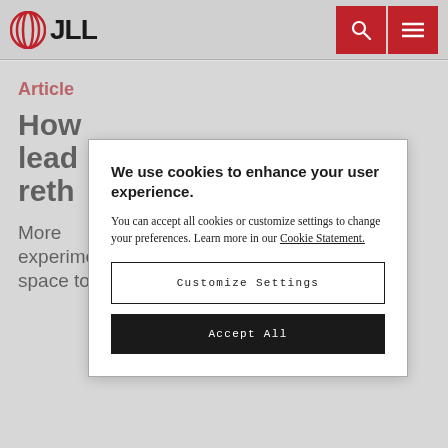JLL
Article
How leaders reth...
More... experimenting with flexible office space to cater for 21st century
We use cookies to enhance your user experience.

You can accept all cookies or customize settings to change your preferences. Learn more in our Cookie Statement.

[Customize Settings] [Accept All]